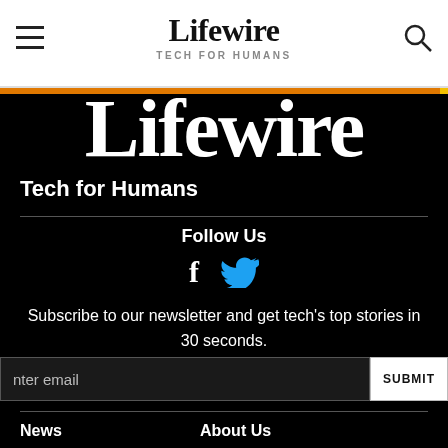Lifewire TECH FOR HUMANS
[Figure (logo): Lifewire logo large white text on black background, partially cropped at top]
Tech for Humans
Follow Us
[Figure (illustration): Facebook and Twitter social media icons]
Subscribe to our newsletter and get tech's top stories in 30 seconds.
nter email  SUBMIT
News
About Us